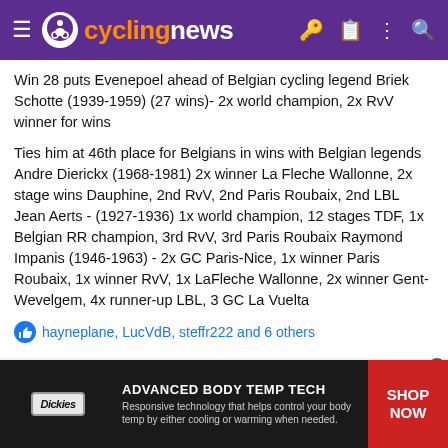cyclingnews
Win 28 puts Evenepoel ahead of Belgian cycling legend Briek Schotte (1939-1959) (27 wins)- 2x world champion, 2x RvV winner for wins
Ties him at 46th place for Belgians in wins with Belgian legends Andre Dierickx (1968-1981) 2x winner La Fleche Wallonne, 2x stage wins Dauphine, 2nd RvV, 2nd Paris Roubaix, 2nd LBL
Jean Aerts - (1927-1936) 1x world champion, 12 stages TDF, 1x Belgian RR champion, 3rd RvV, 3rd Paris Roubaix
Raymond Impanis (1946-1963) - 2x GC Paris-Nice, 1x winner Paris Roubaix, 1x winner RvV, 1x LaFleche Wallonne, 2x winner Gent-Wevelgem, 4x runner-up LBL, 3 GC La Vuelta
hayneplane, LucVdB, steffr222 and 6 others
DoYouEvenRideBruh
[Figure (infographic): Dickies advertisement banner: ADVANCED BODY TEMP TECH - Responsive technology that helps control your body temp by either cooling or warming when needed. SHOP NOW]